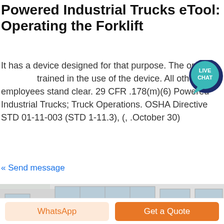Powered Industrial Trucks eTool: Operating the Forklift
It has a device designed for that purpose. The operator must be trained in the use of the device. All other employees stand clear. 29 CFR .178(m)(6) Powered Industrial Trucks; Truck Operations. OSHA Directive STD 01-11-003 (STD 1-11.3), (, .October 30)
« Send message
[Figure (photo): A teal/green mini excavator or compact construction machine parked in front of a large industrial warehouse building with white walls and large windows.]
WhatsApp
Get a Quote